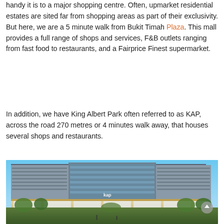handy it is to a major shopping centre. Often, upmarket residential estates are sited far from shopping areas as part of their exclusivity. But here, we are a 5 minute walk from Bukit Timah Plaza. This mall provides a full range of shops and services, F&B outlets ranging from fast food to restaurants, and a Fairprice Finest supermarket.
In addition, we have King Albert Park often referred to as KAP, across the road 270 metres or 4 minutes walk away, that houses several shops and restaurants.
[Figure (photo): Exterior rendering/photo of King Albert Park (KAP) mall, a modern multi-storey shopping centre with retail storefronts on ground level, glass facade upper floors, surrounded by trees and greenery under a blue sky.]